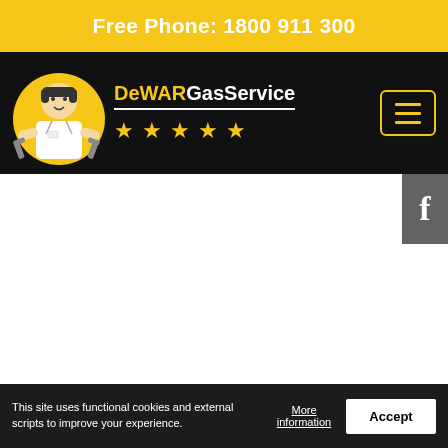Free Phone: 1800 911 300
[Figure (logo): DeWAR Gas Service logo with plumber figure in yellow circle and five yellow stars, on black navigation bar with hamburger menu]
[Figure (logo): Facebook badge 'f' icon in grey square on right edge]
This site uses functional cookies and external scripts to improve your experience.
More information
Accept